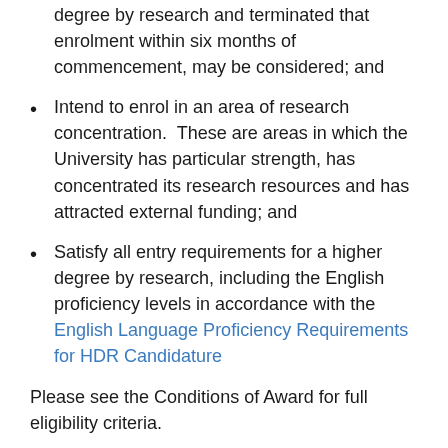degree by research and terminated that enrolment within six months of commencement, may be considered; and
Intend to enrol in an area of research concentration.  These are areas in which the University has particular strength, has concentrated its research resources and has attracted external funding; and
Satisfy all entry requirements for a higher degree by research, including the English proficiency levels in accordance with the English Language Proficiency Requirements for HDR Candidature
Please see the Conditions of Award for full eligibility criteria.